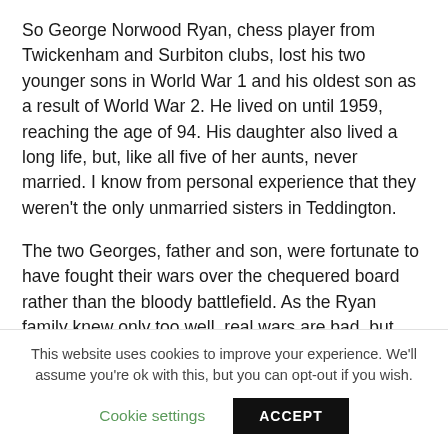So George Norwood Ryan, chess player from Twickenham and Surbiton clubs, lost his two younger sons in World War 1 and his oldest son as a result of World War 2. He lived on until 1959, reaching the age of 94. His daughter also lived a long life, but, like all five of her aunts, never married. I know from personal experience that they weren't the only unmarried sisters in Teddington.
The two Georges, father and son, were fortunate to have fought their wars over the chequered board rather than the bloody battlefield. As the Ryan family knew only too well, real wars are bad, but pretend wars are good.
This website uses cookies to improve your experience. We'll assume you're ok with this, but you can opt-out if you wish.
Cookie settings
ACCEPT